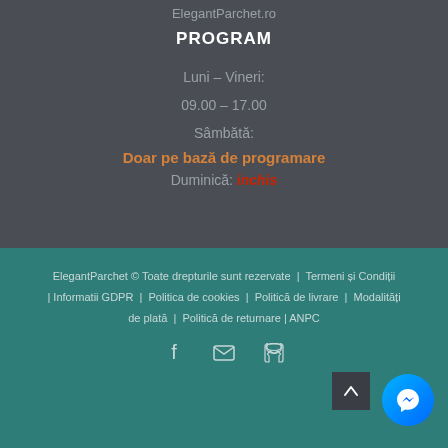ElegantParchet.ro
PROGRAM
Luni – Vineri:
09.00 – 17.00
Sâmbătă:
Doar pe bază de programare
Duminică: inchis
ElegantParchet © Toate drepturile sunt rezervate | Termeni și Condiții | Informatii GDPR | Politica de cookies | Politică de livrare | Modalități de plată | Politică de returnare | ANPC